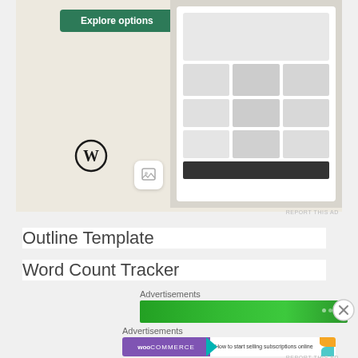[Figure (screenshot): Top advertisement banner showing a WordPress food/restaurant website demo with 'Explore options' green button, WordPress logo, and food imagery on the right side.]
REPORT THIS AD
Outline Template
Word Count Tracker
Self-Publishing Comparison Chart
Click Here!
Advertisements
[Figure (screenshot): Green advertisement banner with dots pattern]
Advertisements
[Figure (screenshot): WooCommerce advertisement banner: purple left side with WooCommerce logo and teal arrow, white right side with text 'How to start selling subscriptions online', orange and teal decorative shapes in corners.]